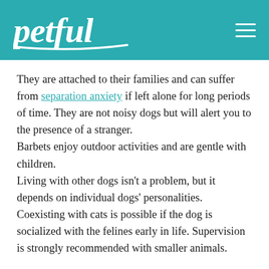petful
They are attached to their families and can suffer from separation anxiety if left alone for long periods of time. They are not noisy dogs but will alert you to the presence of a stranger.
Barbets enjoy outdoor activities and are gentle with children.
Living with other dogs isn't a problem, but it depends on individual dogs' personalities. Coexisting with cats is possible if the dog is socialized with the felines early in life. Supervision is strongly recommended with smaller animals.